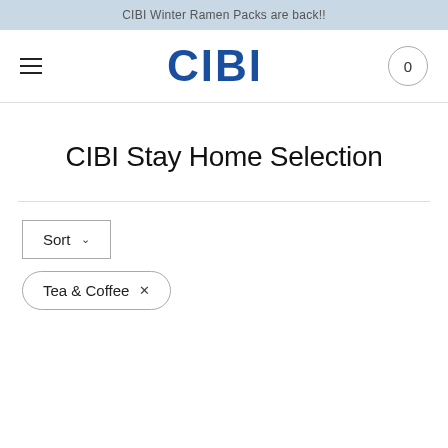CIBI Winter Ramen Packs are back!!
[Figure (logo): CIBI logo in bold blue text, centered in header with hamburger menu on left and cart button (0) on right]
CIBI Stay Home Selection
Sort (dropdown)
Tea & Coffee ×